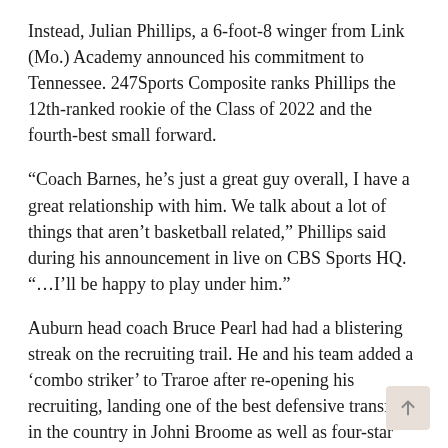Instead, Julian Phillips, a 6-foot-8 winger from Link (Mo.) Academy announced his commitment to Tennessee. 247Sports Composite ranks Phillips the 12th-ranked rookie of the Class of 2022 and the fourth-best small forward.
“Coach Barnes, he’s just a great guy overall, I have a great relationship with him. We talk about a lot of things that aren’t basketball related,” Phillips said during his announcement in live on CBS Sports HQ. “…I’ll be happy to play under him.”
Auburn head coach Bruce Pearl had had a blistering streak on the recruiting trail. He and his team added a ‘combo striker’ to Traroe after re-opening his recruiting, landing one of the best defensive transfers in the country in Johni Broome as well as four-star small forward Chance Westry. According to the 247Sports team calculator, Auburn’s class would have ranked fifth in the nation with Phillips. It remains ranked 16th nationally and third behind Alabama and Arkansas in the Southeastern Conference